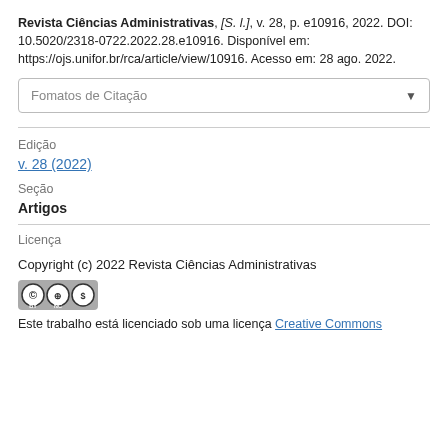Revista Ciências Administrativas, [S. I.], v. 28, p. e10916, 2022. DOI: 10.5020/2318-0722.2022.28.e10916. Disponível em: https://ojs.unifor.br/rca/article/view/10916. Acesso em: 28 ago. 2022.
Fomatos de Citação
Edição
v. 28 (2022)
Seção
Artigos
Licença
Copyright (c) 2022 Revista Ciências Administrativas
[Figure (logo): Creative Commons BY NC license badge]
Este trabalho está licenciado sob uma licença Creative Commons